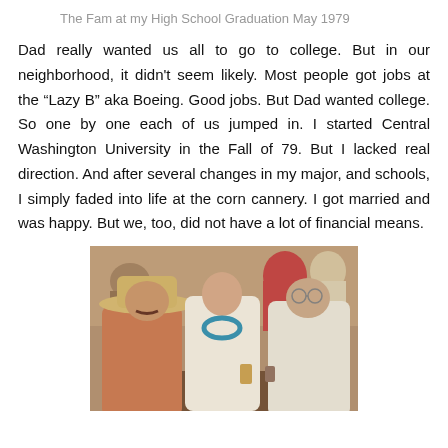The Fam at my High School Graduation May 1979
Dad really wanted us all to go to college. But in our neighborhood, it didn't seem likely. Most people got jobs at the “Lazy B” aka Boeing. Good jobs. But Dad wanted college. So one by one each of us jumped in. I started Central Washington University in the Fall of 79. But I lacked real direction. And after several changes in my major, and schools, I simply faded into life at the corn cannery. I got married and was happy. But we, too, did not have a lot of financial means.
[Figure (photo): Group photo of people seated at a table. One man wearing a cowboy hat on the left, a young woman with a turquoise necklace in the center, and an older man on the right. People visible in the background.]